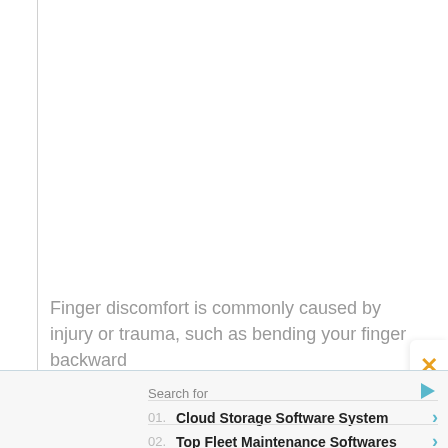Finger discomfort is commonly caused by injury or trauma, such as bending your finger backward
Search for
01. Cloud Storage Software System ›
02. Top Fleet Maintenance Softwares ›
Yahoo! Search | Sponsored